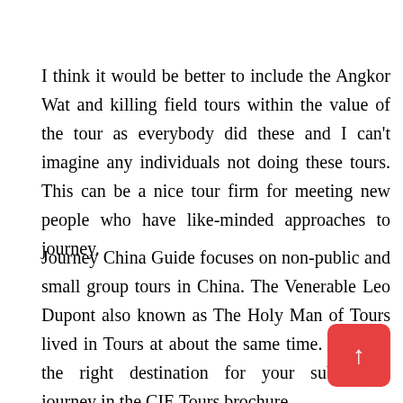I think it would be better to include the Angkor Wat and killing field tours within the value of the tour as everybody did these and I can't imagine any individuals not doing these tours. This can be a nice tour firm for meeting new people who have like-minded approaches to journey.
Journey China Guide focuses on non-public and small group tours in China. The Venerable Leo Dupont also known as The Holy Man of Tours lived in Tours at about the same time. Uncover the right destination for your subsequent journey in the CIE Tours brochure.
We got that means by listening to travellers and giving them what they need: High-notch tours in top-notch places with prime-notch workers at nice costs. If you like